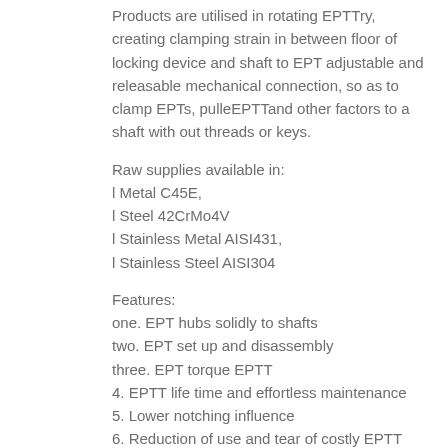Products are utilised in rotating EPTTry, creating clamping strain in between floor of locking device and shaft to EPT adjustable and releasable mechanical connection, so as to clamp EPTs, pulleEPTTand other factors to a shaft with out threads or keys.
Raw supplies available in:
l Metal C45E,
l Steel 42CrMo4V
l Stainless Metal AISI431,
l Stainless Steel AISI304
Features:
one. EPT hubs solidly to shafts
two. EPT set up and disassembly
three. EPT torque EPTT
4. EPTT life time and effortless maintenance
5. Lower notching influence
6. Reduction of use and tear of costly EPTT elements